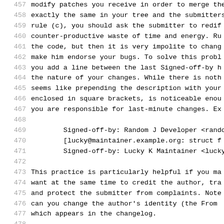457   modify patches you receive in order to merge the
458   exactly the same in your tree and the submitters
459   rule (c), you should ask the submitter to redif
460   counter-productive waste of time and energy. Ru
461   the code, but then it is very impolite to chang
462   make him endorse your bugs. To solve this probl
463   you add a line between the last Signed-off-by h
464   the nature of your changes. While there is noth
465   seems like prepending the description with your
466   enclosed in square brackets, is noticeable enou
467   you are responsible for last-minute changes. Ex
468   
469       Signed-off-by: Random J Developer <rando
470       [lucky@maintainer.example.org: struct f
471       Signed-off-by: Lucky K Maintainer <lucky
472   
473   This practice is particularly helpful if you ma
474   want at the same time to credit the author, tra
475   and protect the submitter from complaints. Note
476   can you change the author's identity (the From 
477   which appears in the changelog.
478